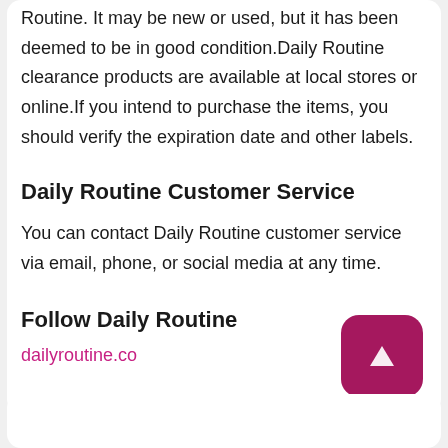Routine. It may be new or used, but it has been deemed to be in good condition.Daily Routine clearance products are available at local stores or online.If you intend to purchase the items, you should verify the expiration date and other labels.
Daily Routine Customer Service
You can contact Daily Routine customer service via email, phone, or social media at any time.
Follow Daily Routine
dailyroutine.co